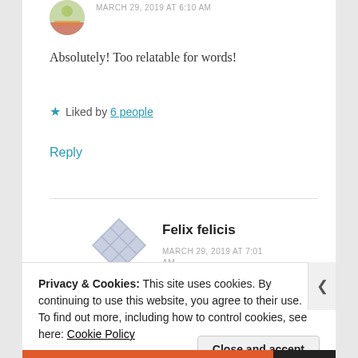MARCH 29, 2019 AT 6:10 AM
Absolutely! Too relatable for words!
★ Liked by 6 people
Reply
Felix felicis
MARCH 29, 2019 AT 7:01 AM
Privacy & Cookies: This site uses cookies. By continuing to use this website, you agree to their use.
To find out more, including how to control cookies, see here: Cookie Policy
Close and accept